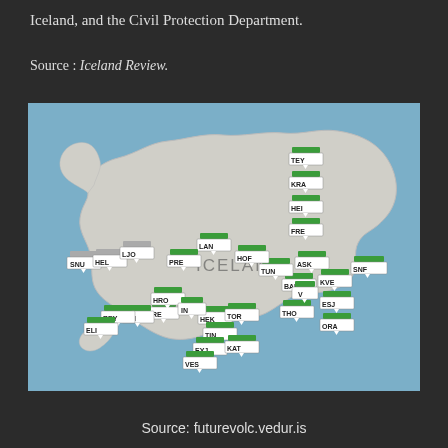Iceland, and the Civil Protection Department.
Source : Iceland Review.
[Figure (map): Map of Iceland with labeled monitoring stations marked with green (and some gray) flag markers. Stations labeled include: TEY, KRA, HEI, FRE, ASK, SNF, KVE, BAR, TUN, HOF, LAN, PRE, ESJ, THO, V, ORA, TIN, EYJ, KAT, VES, HEK, TOR, RE, HRO, IN, KRI, REY, ELI, SNU, HEL, LJO. The text 'ICELAND' appears on the map.]
Source: futurevolc.vedur.is